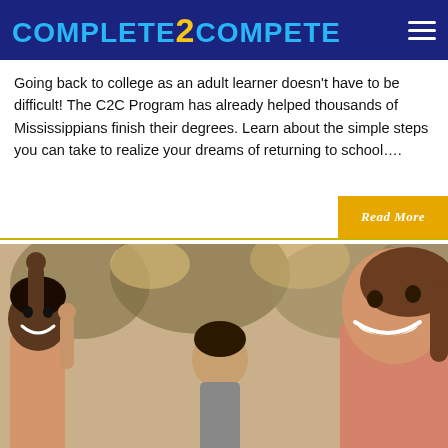COMPLETE2COMPETE
Going back to college as an adult learner doesn't have to be difficult! The C2C Program has already helped thousands of Mississippians finish their degrees. Learn about the simple steps you can take to realize your dreams of returning to school….
Read More
[Figure (photo): Photo of smiling women celebrating outdoors, one with arm raised, trees in background]